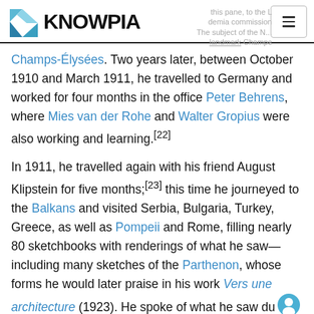KNOWPIA
Champs-Élysées. Two years later, between October 1910 and March 1911, he travelled to Germany and worked for four months in the office Peter Behrens, where Mies van der Rohe and Walter Gropius were also working and learning.[22]
In 1911, he travelled again with his friend August Klipstein for five months;[23] this time he journeyed to the Balkans and visited Serbia, Bulgaria, Turkey, Greece, as well as Pompeii and Rome, filling nearly 80 sketchbooks with renderings of what he saw—including many sketches of the Parthenon, whose forms he would later praise in his work Vers une architecture (1923). He spoke of what he saw during this trip in many of his books, and it was the subject of